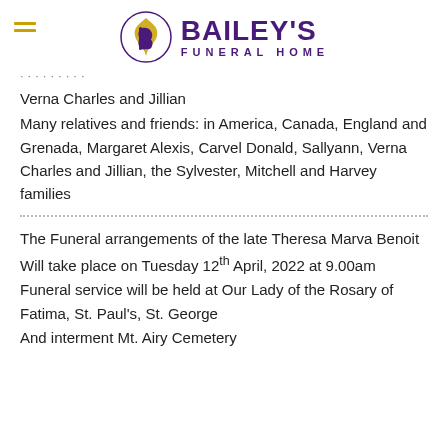[Figure (logo): Bailey's Funeral Home logo with stylized B emblem in purple and gold, with the text BAILEY'S FUNERAL HOME in purple.]
Verna Charles and Jillian
Many relatives and friends: in America, Canada, England and Grenada, Margaret Alexis, Carvel Donald, Sallyann, Verna Charles and Jillian, the Sylvester, Mitchell and Harvey families
The Funeral arrangements of the late Theresa Marva Benoit
Will take place on Tuesday 12th April, 2022 at 9.00am
Funeral service will be held at Our Lady of the Rosary of Fatima, St. Paul's, St. George
And interment Mt. Airy Cemetery